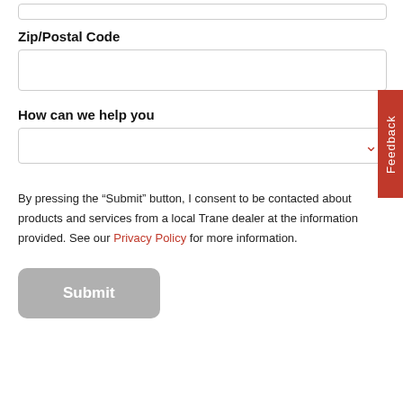Zip/Postal Code
How can we help you
By pressing the “Submit” button, I consent to be contacted about products and services from a local Trane dealer at the information provided. See our Privacy Policy for more information.
Submit